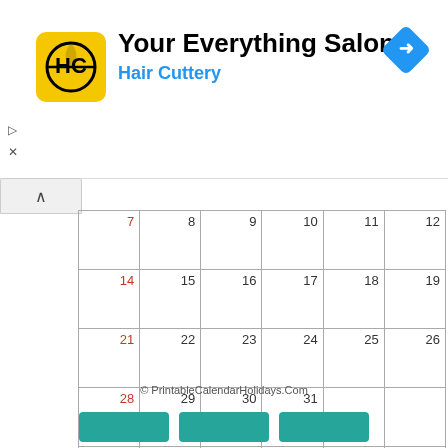[Figure (logo): Hair Cuttery advertisement banner with HC logo in yellow square, title 'Your Everything Salon', subtitle 'Hair Cuttery', and blue diamond navigation icon top right]
| Sun | Mon | Tue | Wed | Thu | Fri | Sat |
| --- | --- | --- | --- | --- | --- | --- |
| 7 | 8 | 9 | 10 | 11 | 12 |  |
| 14 | 15 | 16 | 17 | 18 | 19 |  |
| 21 | 22 | 23 | 24 | 25 | 26 |  |
| 28 | 29 | 30 | 31 |  |  |  |
|  |  |  |  |  |  |  |
© PrintableCalendarHolidays.Com